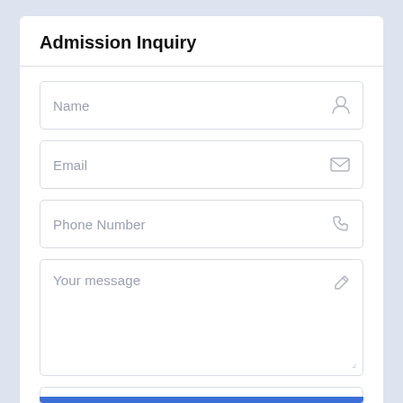Admission Inquiry
Name
Email
Phone Number
Your message
Select Child's Class...